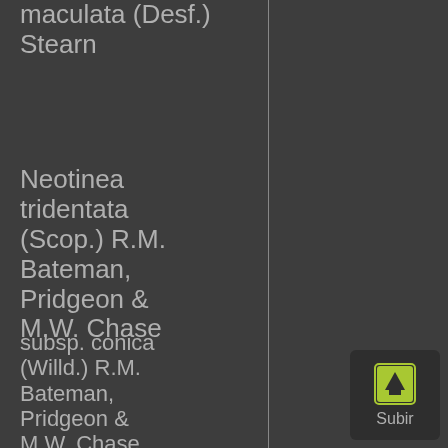maculata (Desf.) Stearn
LC
Neotinea tridentata (Scop.) R.M. Bateman, Pridgeon & M.W. Chase
LC
subsp. conica (Willd.) R.M. Bateman, Pridgeon & M.W. Chase
Subir